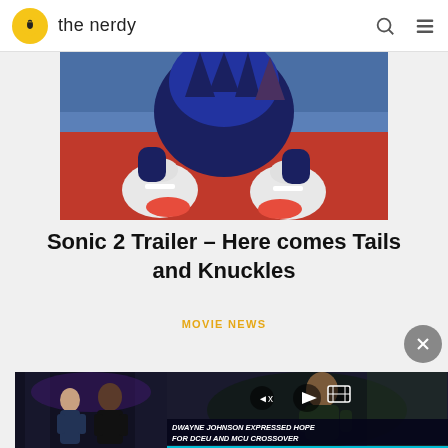the nerdy
[Figure (photo): Close-up of Sonic the Hedgehog character from Sonic 2, showing white-gloved hands on a red surface with blue hedgehog spines visible]
Sonic 2 Trailer – Here comes Tails and Knuckles
MOVIE NEWS
[Figure (screenshot): Video player showing two scenes: left shows actors in a dark alley, right shows Dwayne Johnson in dark setting. Video controls visible. Caption: DWAYNE JOHNSON EXPRESSED HOPE FOR DCEU AND MCU CROSSOVER]